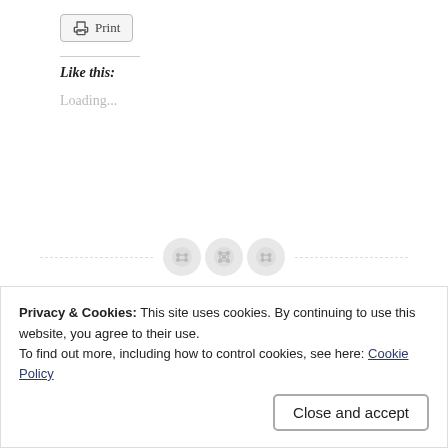[Figure (screenshot): Print button with printer icon]
Like this:
Loading...
[Figure (other): Three circular share/button icons on a dashed horizontal divider line]
Privacy & Cookies: This site uses cookies. By continuing to use this website, you agree to their use.
To find out more, including how to control cookies, see here: Cookie Policy
Close and accept